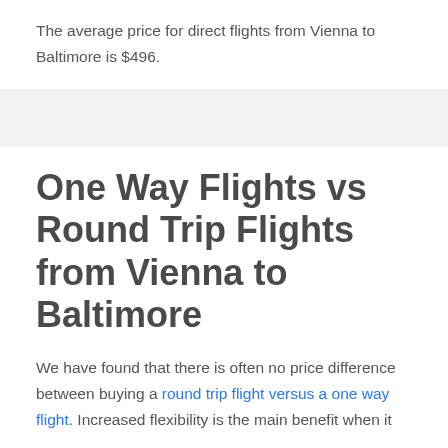The average price for direct flights from Vienna to Baltimore is $496.
One Way Flights vs Round Trip Flights from Vienna to Baltimore
We have found that there is often no price difference between buying a round trip flight versus a one way flight. Increased flexibility is the main benefit when it…